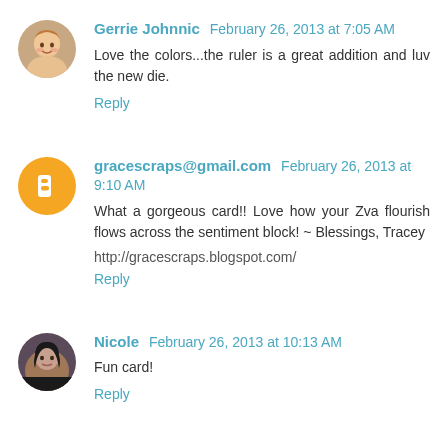Gerrie Johnnic February 26, 2013 at 7:05 AM
Love the colors...the ruler is a great addition and luv the new die.
Reply
gracescraps@gmail.com February 26, 2013 at 9:10 AM
What a gorgeous card!! Love how your Zva flourish flows across the sentiment block! ~ Blessings, Tracey
http://gracescraps.blogspot.com/
Reply
Nicole February 26, 2013 at 10:13 AM
Fun card!
Reply